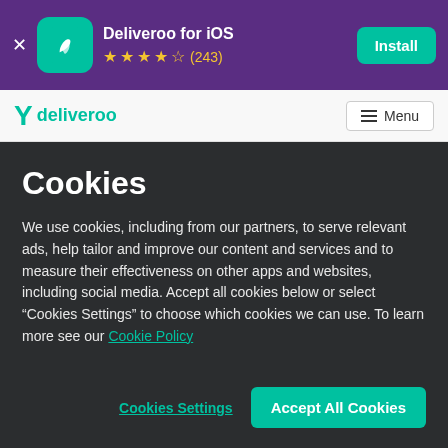[Figure (screenshot): App install banner for Deliveroo for iOS with teal app icon, 4.5 star rating (243 reviews), and Install button on purple background]
[Figure (screenshot): Deliveroo website header strip with teal logo and Menu button]
Cookies
We use cookies, including from our partners, to serve relevant ads, help tailor and improve our content and services and to measure their effectiveness on other apps and websites, including social media. Accept all cookies below or select “Cookies Settings” to choose which cookies we can use. To learn more see our Cookie Policy
Cookies Settings
Accept All Cookies